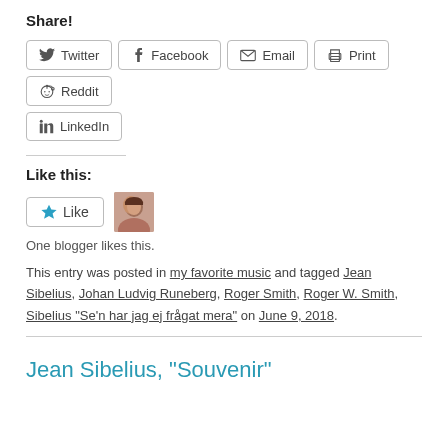Share!
[Figure (other): Social share buttons: Twitter, Facebook, Email, Print, Reddit, LinkedIn]
Like this:
[Figure (other): Like button with star icon and blogger avatar photo]
One blogger likes this.
This entry was posted in my favorite music and tagged Jean Sibelius, Johan Ludvig Runeberg, Roger Smith, Roger W. Smith, Sibelius “Se’n har jag ej frågat mera” on June 9, 2018.
Jean Sibelius, “Souvenir”